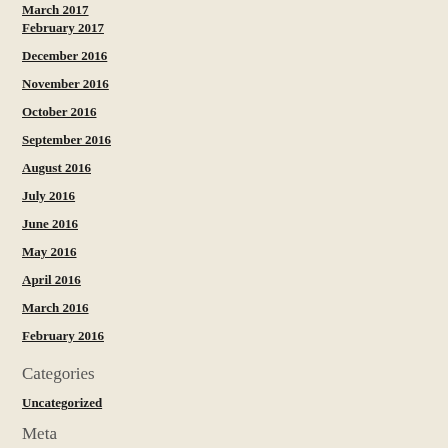March 2017
February 2017
December 2016
November 2016
October 2016
September 2016
August 2016
July 2016
June 2016
May 2016
April 2016
March 2016
February 2016
Categories
Uncategorized
Meta
Register
Log in
Entries feed